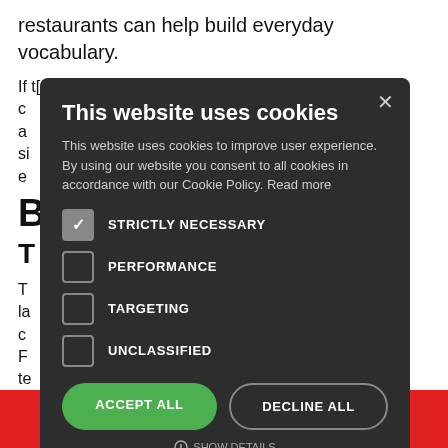restaurants can help build everyday vocabulary.
If [...] your thing, you c[...] se apps such a[...] who share s[...] schedule an e[...] ve fun.
B[...]
T[...]
T[...] of the French la[...] on. A c[...] es quick F[...] grab a t[...] art of your d[...]
[Figure (screenshot): Cookie consent modal overlay on a dark background. Title: 'This website uses cookies'. Body text: 'This website uses cookies to improve user experience. By using our website you consent to all cookies in accordance with our Cookie Policy. Read more'. Checkboxes: STRICTLY NECESSARY (checked), PERFORMANCE (unchecked), TARGETING (unchecked), UNCLASSIFIED (unchecked). Buttons: ACCEPT ALL (green), DECLINE ALL (outline). Close X button top right.]
INQUIRE NOW